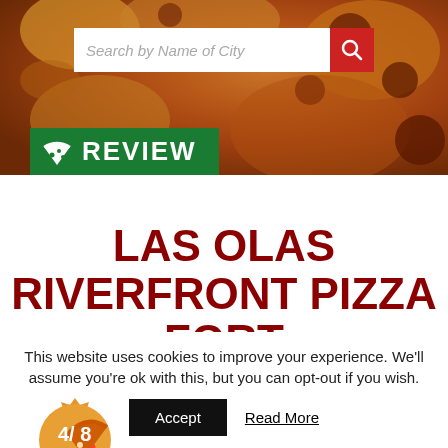[Figure (photo): Pizza close-up as hero background image with warm orange-brown tones]
[Figure (screenshot): Search bar with placeholder text 'Search by Name of City' and red search button with magnifying glass icon]
REVIEW
LAS OLAS RIVERFRONT PIZZA FORT LAUDERDALE
[Figure (infographic): Orange starburst rating badge showing '4/8 Slice Rating' with pizza slice icon]
This website uses cookies to improve your experience. We'll assume you're ok with this, but you can opt-out if you wish.
Accept
Read More